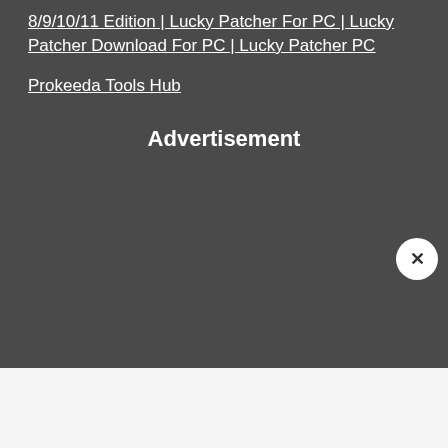8/9/10/11 Edition | Lucky Patcher For PC | Lucky Patcher Download For PC | Lucky Patcher PC
Prokeeda Tools Hub
Advertisement